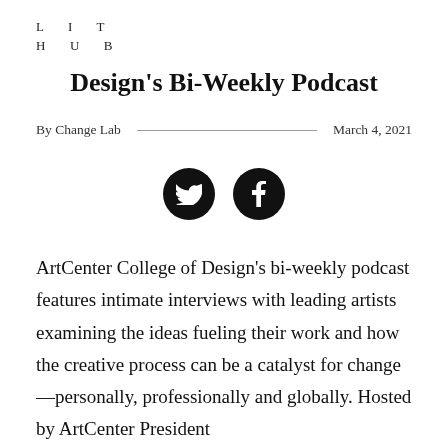LIT
HUB
Design's Bi-Weekly Podcast
By Change Lab
March 4, 2021
[Figure (illustration): Two circular social media icon buttons: Twitter bird icon and Facebook 'f' icon, both black circles with white icons]
ArtCenter College of Design's bi-weekly podcast features intimate interviews with leading artists examining the ideas fueling their work and how the creative process can be a catalyst for change—personally, professionally and globally. Hosted by ArtCenter President